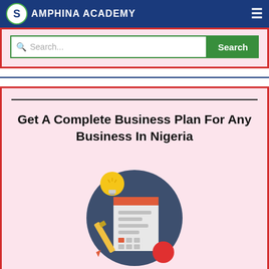Samphina Academy
[Figure (screenshot): Search box with green border and green Search button on pink/red-bordered background]
[Figure (infographic): Business plan illustration: circular icon with document, lightbulb, pencil and red circle on dark blue-grey background]
Get A Complete Business Plan For Any Business In Nigeria